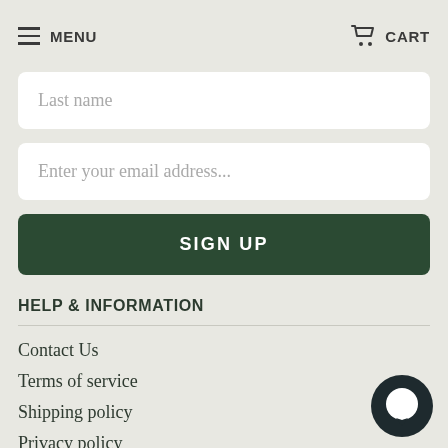MENU   CART
Last name
Enter your email address...
SIGN UP
HELP & INFORMATION
Contact Us
Terms of service
Shipping policy
Privacy policy
Customer Service
Dropshipping
[Figure (illustration): Chat bubble icon in dark circle, bottom right corner]